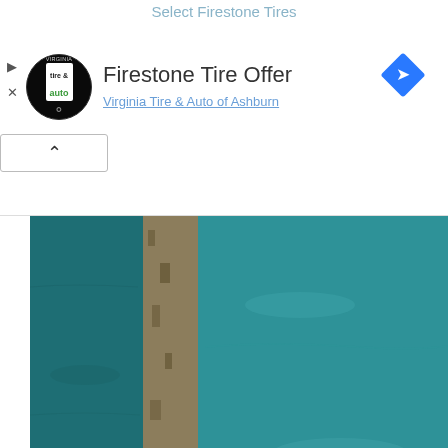Select Firestone Tires
[Figure (screenshot): Firestone Tire Offer advertisement with Virginia Tire & Auto of Ashburn logo (circle with tire & auto text), blue navigation diamond icon, play and close controls, and collapse arrow button. Title reads 'Firestone Tire Offer', subtitle reads 'Virginia Tire & Auto of Ashburn']
[Figure (photo): Aerial photograph showing a narrow strip of sandy coastline/barrier island with turquoise ocean water on both sides, taken from directly above]
Baths must not come into contact with sewage on British beaches
[Figure (screenshot): Article thumbnail showing a broken image placeholder icon with text 'A dog transmits a rare disease to its owner in the UK', with a blue scroll-up button on the right]